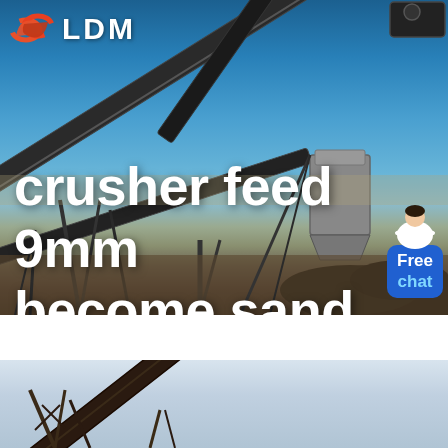[Figure (photo): Industrial crushing/conveyor plant with multiple conveyor belts crossing against a clear blue sky, with piles of crushed aggregate rock in the foreground. LDM logo visible at top left with orange hands icon and white LDM text. A 'Free chat' button with a customer service person icon at right.]
crusher feed 9mm become sand
[Figure (photo): Partial view of an industrial conveyor belt structure at an angle against a pale grey-white sky, bottom portion of the page.]